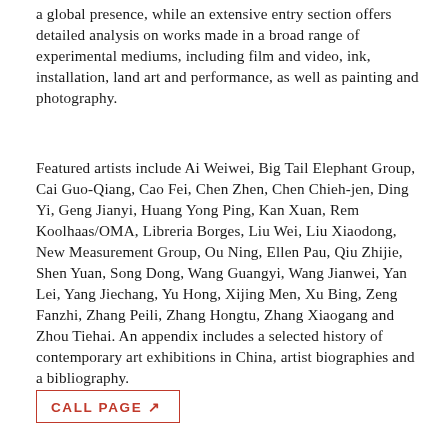a global presence, while an extensive entry section offers detailed analysis on works made in a broad range of experimental mediums, including film and video, ink, installation, land art and performance, as well as painting and photography.
Featured artists include Ai Weiwei, Big Tail Elephant Group, Cai Guo-Qiang, Cao Fei, Chen Zhen, Chen Chieh-jen, Ding Yi, Geng Jianyi, Huang Yong Ping, Kan Xuan, Rem Koolhaas/OMA, Libreria Borges, Liu Wei, Liu Xiaodong, New Measurement Group, Ou Ning, Ellen Pau, Qiu Zhijie, Shen Yuan, Song Dong, Wang Guangyi, Wang Jianwei, Yan Lei, Yang Jiechang, Yu Hong, Xijing Men, Xu Bing, Zeng Fanzhi, Zhang Peili, Zhang Hongtu, Zhang Xiaogang and Zhou Tiehai. An appendix includes a selected history of contemporary art exhibitions in China, artist biographies and a bibliography.
CALL PAGE ↗